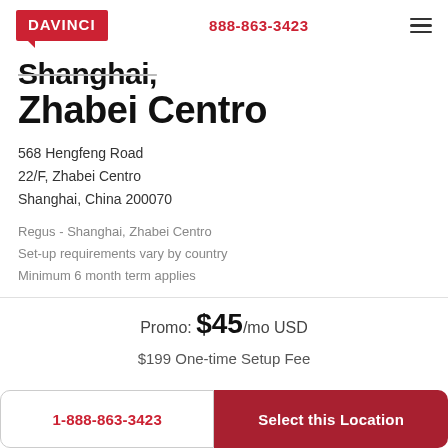DAVINCI | 888-863-3423
Shanghai, Zhabei Centro
568 Hengfeng Road
22/F, Zhabei Centro
Shanghai, China 200070
Regus - Shanghai, Zhabei Centro
Set-up requirements vary by country
Minimum 6 month term applies
Promo: $45/mo USD
$199 One-time Setup Fee
1-888-863-3423
Select this Location